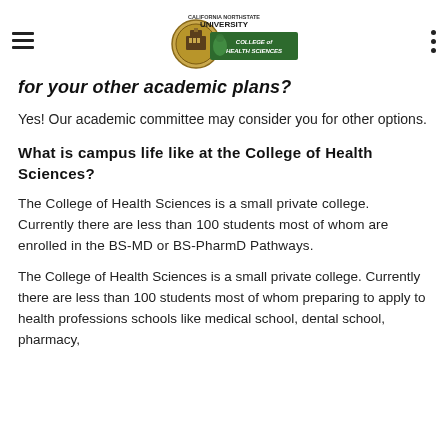California Northstate University College of Health Sciences
for your other academic plans?
Yes! Our academic committee may consider you for other options.
What is campus life like at the College of Health Sciences?
The College of Health Sciences is a small private college.  Currently there are less than 100 students most of whom are enrolled in the BS-MD or BS-PharmD Pathways.
The College of Health Sciences is a small private college. Currently there are less than 100 students most of whom preparing to apply to health professions schools like medical school, dental school, pharmacy,